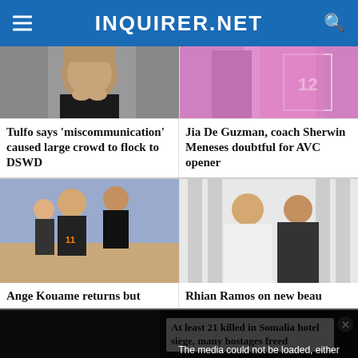INQUIRER.NET
[Figure (photo): Close-up photo of a man's face]
Tulfo says 'miscommunication' caused large crowd to flock to DSWD
[Figure (photo): Pink jersey volleyball player (number 12)]
Jia De Guzman, coach Sherwin Meneses doubtful for AVC opener
[Figure (photo): Basketball players in game action]
Ange Kouame returns but
[Figure (photo): Rhian Ramos posed with new beau in formal attire]
Rhian Ramos on new beau
[Figure (photo): Video player with error overlay. Text reads: The media could not be loaded, either because the server or network failed or because the format is not supported.]
The media could not be loaded, either because the server or network failed or because the format is not supported.
At least 21 killed in Somalia hotel siege, many hostages freed
AT LEAST 21 KILLED IN SOMALIA HOTEL SIEGE, MANY HOSTAGES FREED